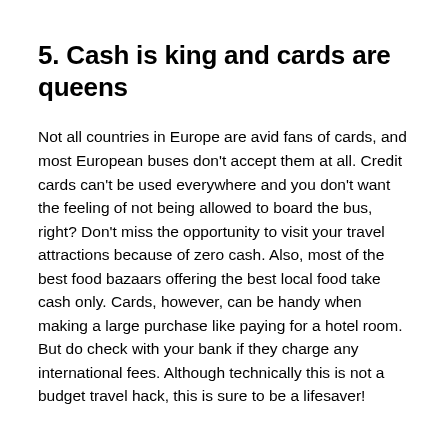5. Cash is king and cards are queens
Not all countries in Europe are avid fans of cards, and most European buses don't accept them at all. Credit cards can't be used everywhere and you don't want the feeling of not being allowed to board the bus, right? Don't miss the opportunity to visit your travel attractions because of zero cash. Also, most of the best food bazaars offering the best local food take cash only. Cards, however, can be handy when making a large purchase like paying for a hotel room. But do check with your bank if they charge any international fees. Although technically this is not a budget travel hack, this is sure to be a lifesaver!